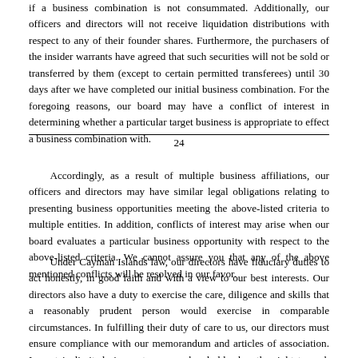if a business combination is not consummated. Additionally, our officers and directors will not receive liquidation distributions with respect to any of their founder shares. Furthermore, the purchasers of the insider warrants have agreed that such securities will not be sold or transferred by them (except to certain permitted transferees) until 30 days after we have completed our initial business combination. For the foregoing reasons, our board may have a conflict of interest in determining whether a particular target business is appropriate to effect a business combination with.
24
Accordingly, as a result of multiple business affiliations, our officers and directors may have similar legal obligations relating to presenting business opportunities meeting the above-listed criteria to multiple entities. In addition, conflicts of interest may arise when our board evaluates a particular business opportunity with respect to the above-listed criteria. We cannot assure you that any of the above mentioned conflicts will be resolved in our favor.
Under Cayman Islands law, our directors have fiduciary duties to act honestly, in good faith and with a view to our best interests. Our directors also have a duty to exercise the care, diligence and skills that a reasonably prudent person would exercise in comparable circumstances. In fulfilling their duty of care to us, our directors must ensure compliance with our memorandum and articles of association. In certain limited circumstances, a shareholder has the right to seek damages if a duty owed by our directors is breached.